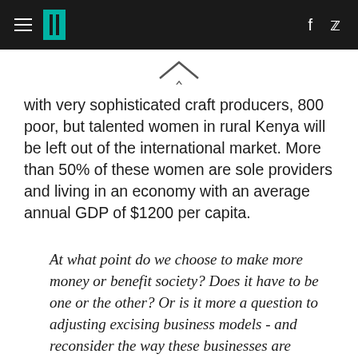HuffPost navigation header with hamburger menu, logo, Facebook and Twitter icons
with very sophisticated craft producers, 800 poor, but talented women in rural Kenya will be left out of the international market. More than 50% of these women are sole providers and living in an economy with an average annual GDP of $1200 per capita.
At what point do we choose to make more money or benefit society? Does it have to be one or the other? Or is it more a question to adjusting excising business models - and reconsider the way these businesses are structured and financed?